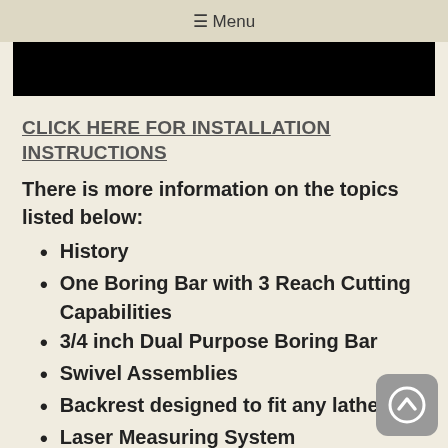☰ Menu
[Figure (other): Black rectangular image/video banner]
CLICK HERE FOR INSTALLATION INSTRUCTIONS
There is more information on the topics listed below:
History
One Boring Bar with 3 Reach Cutting Capabilities
3/4 inch Dual Purpose Boring Bar
Swivel Assemblies
Backrest designed to fit any lathe
Laser Measuring System